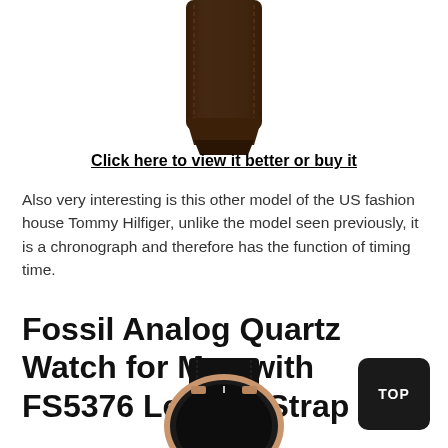[Figure (photo): Partial view of a brown leather watch strap from above, cropped at top of page]
Click here to view it better or buy it
Also very interesting is this other model of the US fashion house Tommy Hilfiger, unlike the model seen previously, it is a chronograph and therefore has the function of timing time.
Fossil Analog Quartz Watch for Men with FS5376 Leather Strap
[Figure (photo): Fossil analog watch with black face, rose gold case, and black leather strap, partially visible at bottom of page]